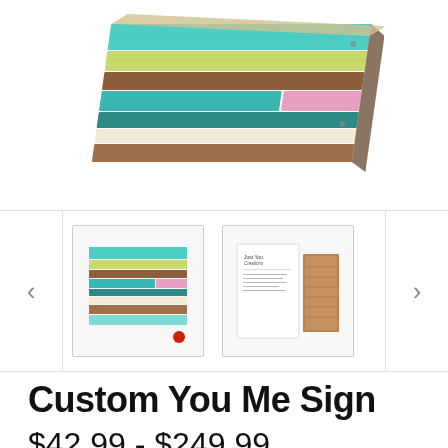[Figure (photo): A colorful reclaimed wood sign with horizontal planks painted in various colors: turquoise, yellow, brown, teal, pink, cream. The sign is shown at a slight angle, like a product photo on a white background.]
[Figure (photo): Thumbnail carousel with two product thumbnail images. First thumbnail shows the colorful wood sign front. Second thumbnail shows the back/packaging of the sign with product information card beside a wooden panel. Navigation arrows on left and right sides.]
Custom You Me Sign
$42.99 - $249.99